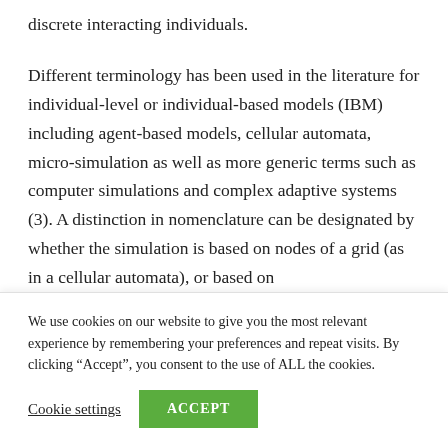discrete interacting individuals.
Different terminology has been used in the literature for individual-level or individual-based models (IBM) including agent-based models, cellular automata, micro-simulation as well as more generic terms such as computer simulations and complex adaptive systems (3). A distinction in nomenclature can be designated by whether the simulation is based on nodes of a grid (as in a cellular automata), or based on
We use cookies on our website to give you the most relevant experience by remembering your preferences and repeat visits. By clicking “Accept”, you consent to the use of ALL the cookies.
Cookie settings
ACCEPT